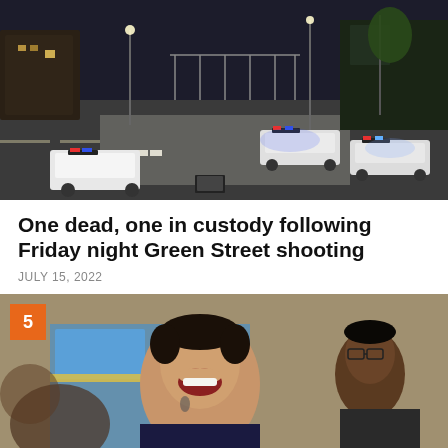[Figure (photo): Aerial nighttime view of a street intersection with multiple police cars with flashing lights, blocking Green Street. Buildings and streetlights visible.]
One dead, one in custody following Friday night Green Street shooting
JULY 15, 2022
[Figure (photo): A man speaking and laughing in a crowd, with a blue and yellow building visible in the background. A numbered orange badge '5' is overlaid in the top-left corner.]